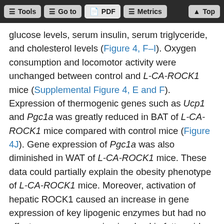Tools | Go to | PDF | Metrics | Top
glucose levels, serum insulin, serum triglyceride, and cholesterol levels (Figure 4, F–I). Oxygen consumption and locomotor activity were unchanged between control and L-CA-ROCK1 mice (Supplemental Figure 4, E and F). Expression of thermogenic genes such as Ucp1 and Pgc1a was greatly reduced in BAT of L-CA-ROCK1 mice compared with control mice (Figure 4J). Gene expression of Pgc1a was also diminished in WAT of L-CA-ROCK1 mice. These data could partially explain the obesity phenotype of L-CA-ROCK1 mice. Moreover, activation of hepatic ROCK1 caused an increase in gene expression of key lipogenic enzymes but had no effect on gene expression involved in fatty acid oxidation and fatty acid uptake (Figure 4K).